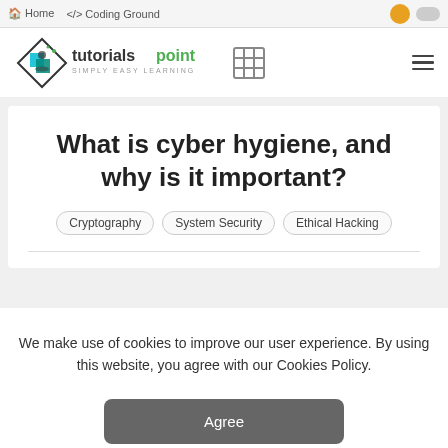Home  Coding Ground
[Figure (logo): tutorialspoint SIMPLY EASY LEARNING logo with diamond/cube icon in teal and black]
What is cyber hygiene, and why is it important?
Cryptography
System Security
Ethical Hacking
We make use of cookies to improve our user experience. By using this website, you agree with our Cookies Policy.
Agree
Learn more